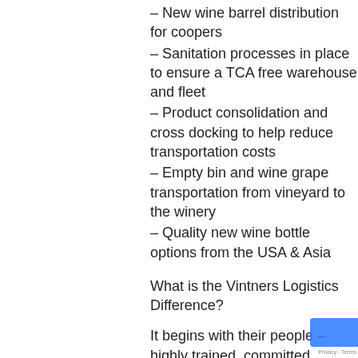– New wine barrel distribution for coopers
– Sanitation processes in place to ensure a TCA free warehouse and fleet
– Product consolidation and cross docking to help reduce transportation costs
– Empty bin and wine grape transportation from vineyard to the winery
– Quality new wine bottle options from the USA & Asia
What is the Vintners Logistics Difference?
It begins with their people – highly trained, committed, passionate people who are committed to us